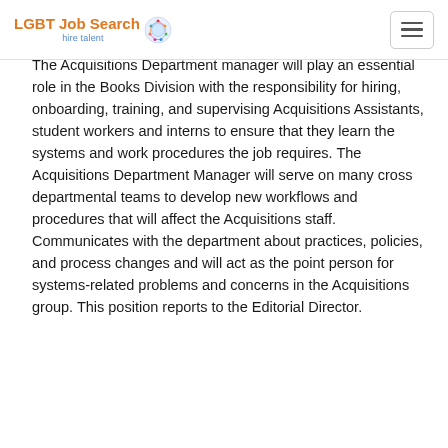LGBT Job Search hire talent
The Acquisitions Department manager will play an essential role in the Books Division with the responsibility for hiring, onboarding, training, and supervising Acquisitions Assistants, student workers and interns to ensure that they learn the systems and work procedures the job requires. The Acquisitions Department Manager will serve on many cross departmental teams to develop new workflows and procedures that will affect the Acquisitions staff. Communicates with the department about practices, policies, and process changes and will act as the point person for systems-related problems and concerns in the Acquisitions group. This position reports to the Editorial Director.